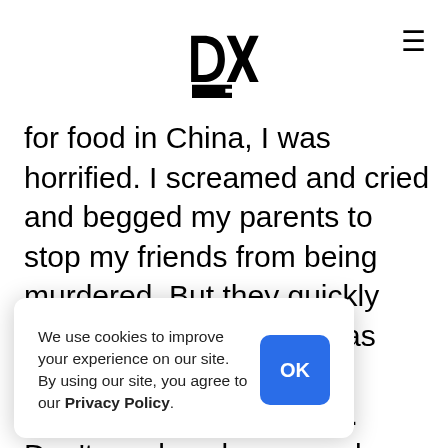DXE (logo) with hamburger menu
for food in China, I was horrified. I screamed and cried and begged my parents to stop my friends from being murdered. But they quickly dismissed my concerns as performing whiteness.
"Americans do the same. Don’t you love bacon and baloney?"

As I child, I rejected this comparison. But in my adulthood, I now recognize that my parents were ...k the species frontier, ...nimals, there is no ...single species. And if ...to one species, on the ...tus, who are we to object to the abuse of other animals?
We use cookies to improve your experience on our site. By using our site, you agree to our Privacy Policy.